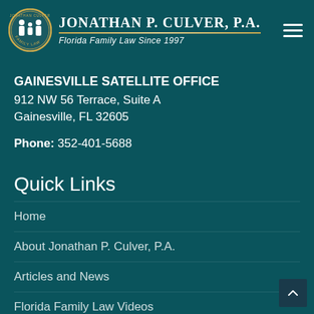[Figure (logo): Jonathan P. Culver, P.A. law firm logo — circular badge with family silhouette and firm name header with gold underline and subtitle 'Florida Family Law Since 1997']
GAINESVILLE SATELLITE OFFICE
912 NW 56 Terrace, Suite A
Gainesville, FL 32605
Phone: 352-401-5688
Quick Links
Home
About Jonathan P. Culver, P.A.
Articles and News
Florida Family Law Videos